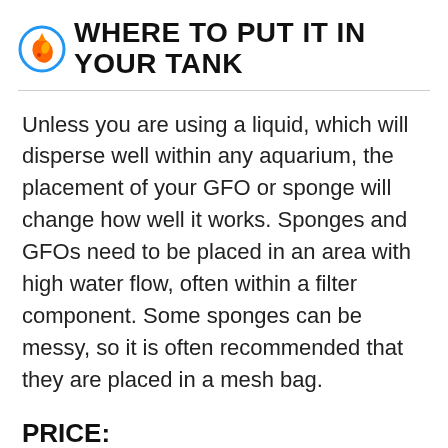WHERE TO PUT IT IN YOUR TANK
Unless you are using a liquid, which will disperse well within any aquarium, the placement of your GFO or sponge will change how well it works. Sponges and GFOs need to be placed in an area with high water flow, often within a filter component. Some sponges can be messy, so it is often recommended that they are placed in a mesh bag.
PRICE:
Most phosphate removers need to be replaced every few months, so you should also consider the cost of the product before